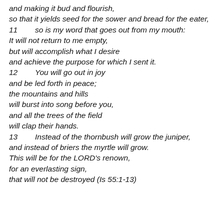and making it bud and flourish,
so that it yields seed for the sower and bread for the eater,
11      so is my word that goes out from my mouth:
It will not return to me empty,
but will accomplish what I desire
and achieve the purpose for which I sent it.
12      You will go out in joy
and be led forth in peace;
the mountains and hills
will burst into song before you,
and all the trees of the field
will clap their hands.
13      Instead of the thornbush will grow the juniper,
and instead of briers the myrtle will grow.
This will be for the LORD's renown,
for an everlasting sign,
that will not be destroyed (Is 55:1-13)